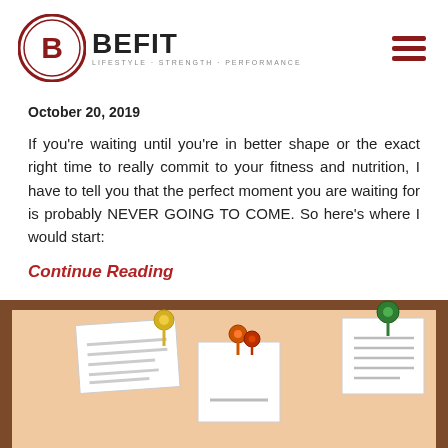[Figure (logo): BEFIT logo with circular badge containing letter B and tagline LIFESTYLE · STRENGTH · PERFORMANCE]
October 20, 2019
If you're waiting until you're in better shape or the exact right time to really commit to your fitness and nutrition, I have to tell you that the perfect moment you are waiting for is probably NEVER GOING TO COME. So here's where I would start:
Continue Reading
[Figure (illustration): Bulletin board with cork background, wooden frame borders, and three white sticky notes pinned with colorful push pins (yellow, orange/red, and green)]